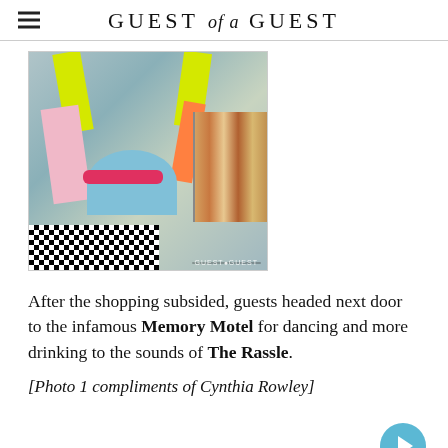GUEST of a GUEST
[Figure (photo): A colorful patchwork garment with yellow, pink, orange, and blue panels and a red belt, displayed hanging, with books and a black-and-white patterned fabric in the background. A Guest of a Guest watermark is visible.]
After the shopping subsided, guests headed next door to the infamous Memory Motel for dancing and more drinking to the sounds of The Rassle.
[Photo 1 compliments of Cynthia Rowley]